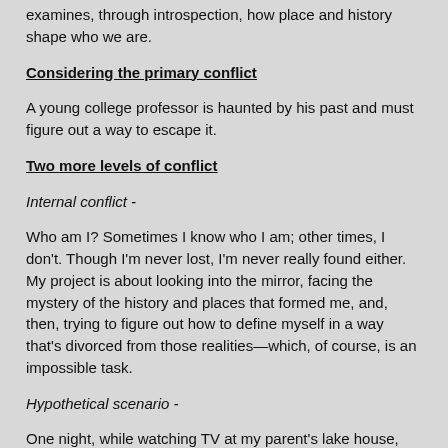examines, through introspection, how place and history shape who we are.
Considering the primary conflict
A young college professor is haunted by his past and must figure out a way to escape it.
Two more levels of conflict
Internal conflict -
Who am I? Sometimes I know who I am; other times, I don't. Though I'm never lost, I'm never really found either. My project is about looking into the mirror, facing the mystery of the history and places that formed me, and, then, trying to figure out how to define myself in a way that's divorced from those realities—which, of course, is an impossible task.
Hypothetical scenario -
One night, while watching TV at my parent's lake house, my mom decided to talk about school integration. Mom, who came of age in southern Mississippi in the 1950s and 1960s, believes America was greater in those days than in these days. We were watching a school profile on the evening news when she turned to me and said, "You know. Everyone was